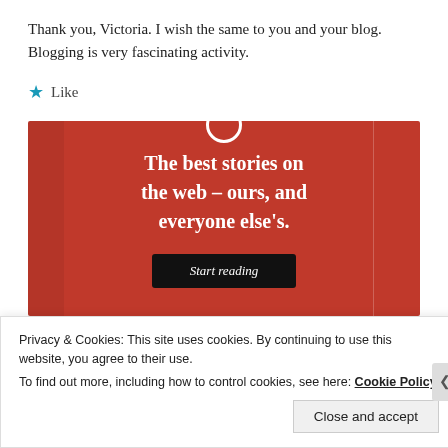Thank you, Victoria. I wish the same to you and your blog. Blogging is very fascinating activity.
★ Like
[Figure (illustration): Red advertisement banner with white serif text reading 'The best stories on the web – ours, and everyone else's.' with a black 'Start reading' button.]
Privacy & Cookies: This site uses cookies. By continuing to use this website, you agree to their use.
To find out more, including how to control cookies, see here: Cookie Policy
Close and accept